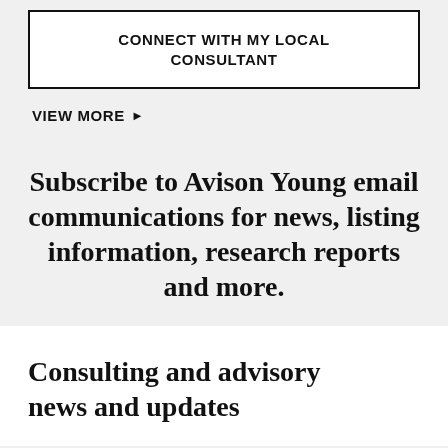CONNECT WITH MY LOCAL CONSULTANT
VIEW MORE ▶
Subscribe to Avison Young email communications for news, listing information, research reports and more.
Consulting and advisory news and updates